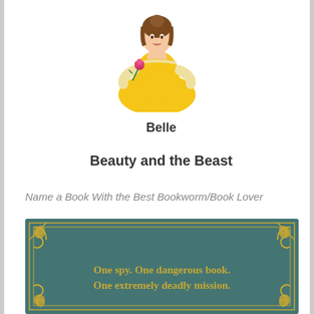[Figure (illustration): Disney princess Belle in yellow dress holding a red rose]
Belle
Beauty and the Beast
Name a Book With the Best Bookworm/Book Lover
[Figure (illustration): Book cover with teal/green background, gold ornate border decorations, and text: 'One spy. One dangerous book. One extremely deadly mission.']